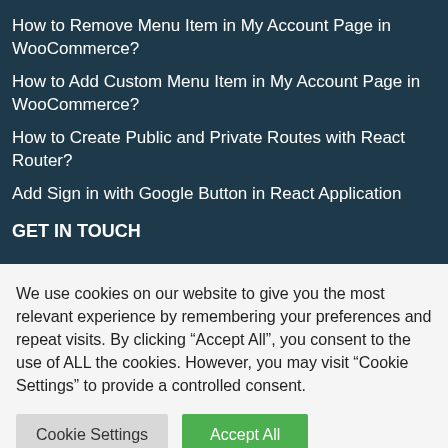How to Remove Menu Item in My Account Page in WooCommerce?
How to Add Custom Menu Item in My Account Page in WooCommerce?
How to Create Public and Private Routes with React Router?
Add Sign in with Google Button in React Application
GET IN TOUCH
We use cookies on our website to give you the most relevant experience by remembering your preferences and repeat visits. By clicking “Accept All”, you consent to the use of ALL the cookies. However, you may visit “Cookie Settings” to provide a controlled consent.
Cookie Settings | Accept All